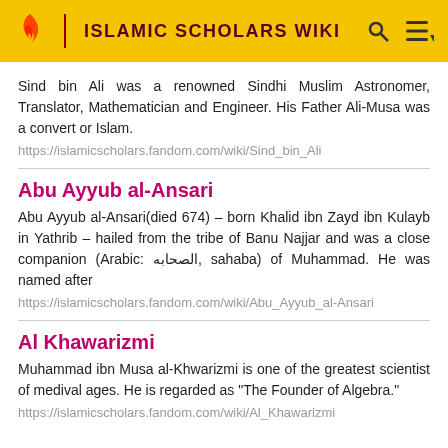ISLAMIC SCHOLARS WIKI
Sind bin Ali was a renowned Sindhi Muslim Astronomer, Translator, Mathematician and Engineer. His Father Ali-Musa was a convert or Islam.
https://islamicscholars.fandom.com/wiki/Sind_bin_Ali
Abu Ayyub al-Ansari
Abu Ayyub al-Ansari(died 674) – born Khalid ibn Zayd ibn Kulayb in Yathrib – hailed from the tribe of Banu Najjar and was a close companion (Arabic: الصحابه, sahaba) of Muhammad. He was named after
https://islamicscholars.fandom.com/wiki/Abu_Ayyub_al-Ansari
Al Khawarizmi
Muhammad ibn Musa al-Khwarizmi is one of the greatest scientist of medival ages. He is regarded as "The Founder of Algebra."
https://islamicscholars.fandom.com/wiki/Al_Khawarizmi